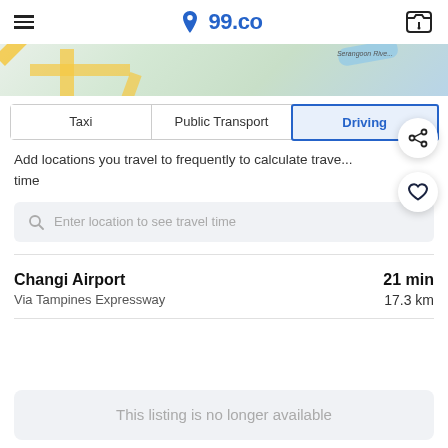99.co
[Figure (map): Street map showing roads and Serangoon River label]
Taxi | Public Transport | Driving
Add locations you travel to frequently to calculate travel time
Enter location to see travel time
Changi Airport
Via Tampines Expressway
21 min
17.3 km
This listing is no longer available